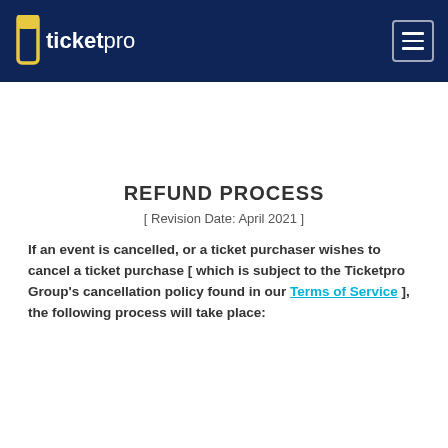ticketpro
REFUND PROCESS
[ Revision Date: April 2021 ]
If an event is cancelled, or a ticket purchaser wishes to cancel a ticket purchase [ which is subject to the Ticketpro Group's cancellation policy found in our Terms of Service ], the following process will take place: